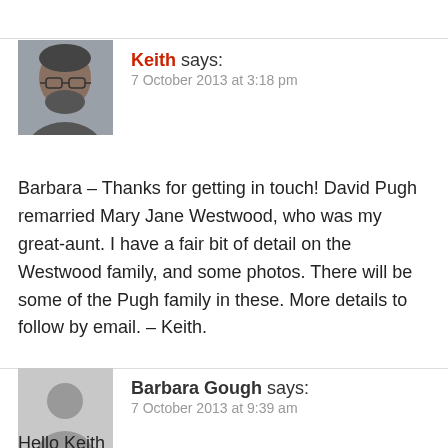[Figure (photo): Profile photo of Keith - man with glasses and beard]
Keith says:
7 October 2013 at 3:18 pm
Barbara – Thanks for getting in touch! David Pugh remarried Mary Jane Westwood, who was my great-aunt. I have a fair bit of detail on the Westwood family, and some photos. There will be some of the Pugh family in these. More details to follow by email. – Keith.
[Figure (illustration): Default grey avatar silhouette for Barbara Gough]
Barbara Gough says:
7 October 2013 at 9:39 am
Hello Keith